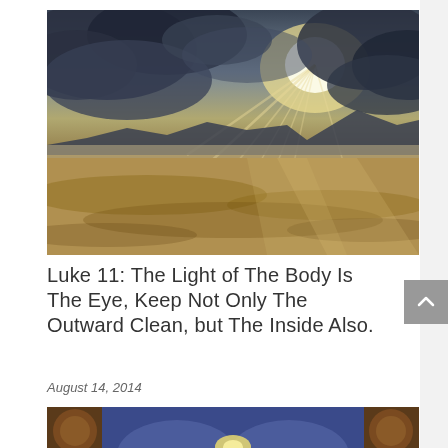[Figure (photo): Dramatic landscape photo with sunbeams breaking through dark storm clouds over a misty valley with mountains in the background, warm sandy tones in the foreground]
Luke 11: The Light of The Body Is The Eye, Keep Not Only The Outward Clean, but The Inside Also.
August 14, 2014
[Figure (photo): Partial view of an ornate architectural or religious interior with blue arches and decorative golden elements]